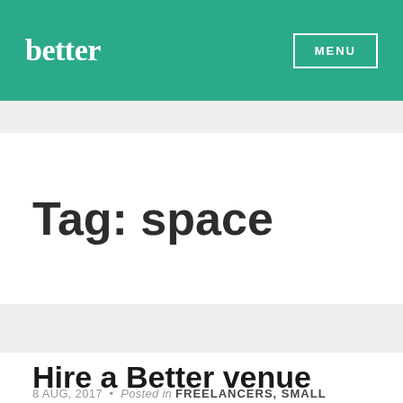better  MENU
Tag: space
Hire a Better venue
8 AUG, 2017 • Posted in FREELANCERS, SMALL BUSINESS • Tagged EVENTS, MEETING ROOM,